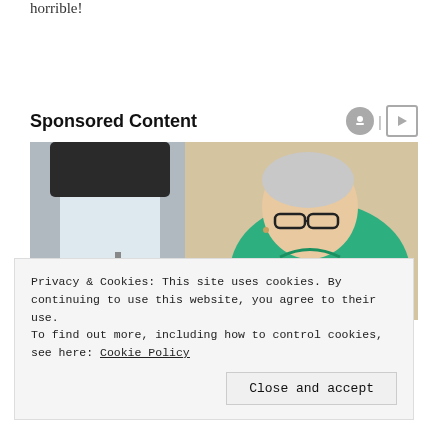horrible!
Sponsored Content
[Figure (photo): An elderly woman wearing glasses and a green shirt, sitting at a sewing machine. The machine is white with a black upper portion. Background is a neutral beige/cream wall.]
Privacy & Cookies: This site uses cookies. By continuing to use this website, you agree to their use.
To find out more, including how to control cookies, see here: Cookie Policy
Close and accept